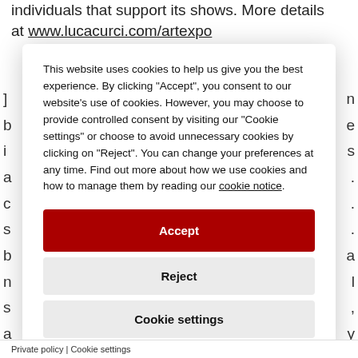individuals that support its shows. More details at www.lucacurci.com/artexpo
This website uses cookies to help us give you the best experience. By clicking "Accept", you consent to our website's use of cookies. However, you may choose to provide controlled consent by visiting our "Cookie settings" or choose to avoid unnecessary cookies by clicking on "Reject". You can change your preferences at any time. Find out more about how we use cookies and how to manage them by reading our cookie notice.
Accept
Reject
Cookie settings
Private policy | Cookie settings